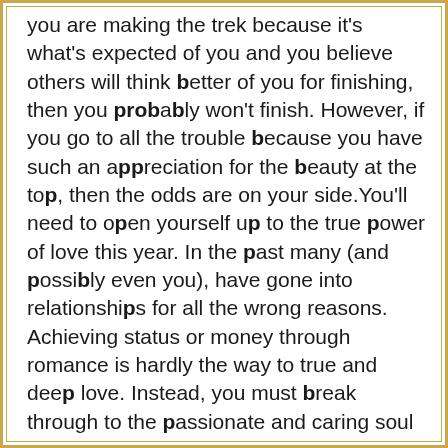you are making the trek because it's what's expected of you and you believe others will think better of you for finishing, then you probably won't finish. However, if you go to all the trouble because you have such an appreciation for the beauty at the top, then the odds are on your side.You'll need to open yourself up to the true power of love this year. In the past many (and possibly even you), have gone into relationships for all the wrong reasons. Achieving status or money through romance is hardly the way to true and deep love. Instead, you must break through to the passionate and caring soul who's inside you and let it out. Even on the